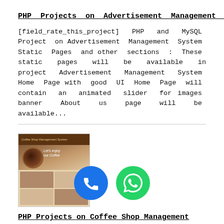PHP Projects on Advertisement Management System
[field_rate_this_project] PHP and MySQL Project on Advertisement Management System Static Pages and other sections : These static pages will be available in project Advertisement Management System Home Page with good UI Home Page will contain an animated slider for images banner About us page will be available...
[Figure (screenshot): Thumbnail screenshot of a Coffee Shop website with brown/coffee themed design, showing 'Let's enjoy our Coffee' text and coffee cup image]
PHP Projects on Coffee Shop Management System
[field_rate_this_proj... HP and MySQL Project on Coffee Shop Management System Static Pages and other sections: These static pages will be available in p...